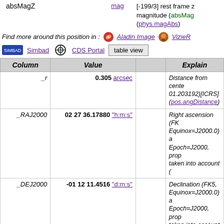magnitude (absMag) (phys.magAbs)
absMagZ   mag   [-199/3] rest frame z magnitude (absMag) (phys.magAbs)
Find more around this position in : Aladin Image   VizieR
Simbad   CDS Portal   table view
| Column | Value |  | Explain |
| --- | --- | --- | --- |
| _r | 0.305 arcsec |  | Distance from center (02 27 36.200, -01 12 01.203192)[ICRS] (pos.angDistance) |
| _RAJ2000 | 02 27 36.17880 "h:m:s" |  | Right ascension (FK5, Equinox=J2000.0) at Epoch=J2000, prop... taken into account ( |
| _DEJ2000 | -01 12 11.4516 "d:m:s" |  | Declination (FK5, Equinox=J2000.0) at Epoch=J2000, prop... taken into account ( |
| _RAB1950 | 02 25 03.33508 "h:m:s" |  | Right ascension (FK5, Equinox=B1950.0) at Epoch=J1950, prop... taken into account ( |